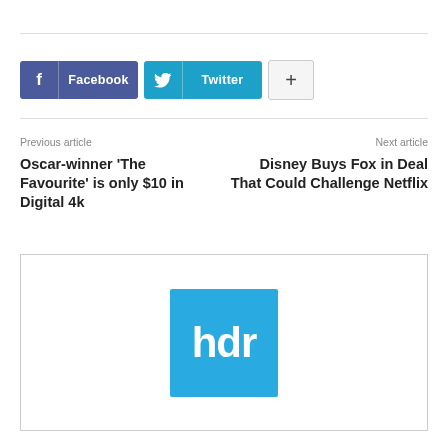[Figure (logo): Facebook share button with 'f' icon and text 'Facebook']
[Figure (logo): Twitter share button with bird icon and text 'Twitter']
[Figure (logo): Plus/share button with '+' symbol]
Previous article
Next article
Oscar-winner ‘The Favourite’ is only $10 in Digital 4k
Disney Buys Fox in Deal That Could Challenge Netflix
[Figure (logo): HDR logo — blue square with white lowercase letters 'hdr']